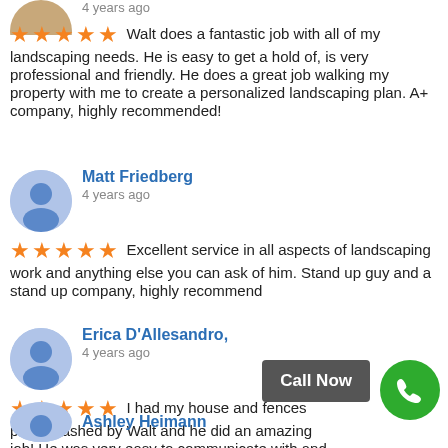4 years ago
Walt does a fantastic job with all of my landscaping needs. He is easy to get a hold of, is very professional and friendly. He does a great job walking my property with me to create a personalized landscaping plan. A+ company, highly recommended!
Matt Friedberg
4 years ago
Excellent service in all aspects of landscaping work and anything else you can ask of him. Stand up guy and a stand up company, highly recommend
Erica D'Allesandro,
4 years ago
I had my house and fences powerwashed by Walt and he did an amazing job! He was very easy to communicate with and gave us a reasonable price for the job. Walt did an excellent j... and our siding and fences look bra...
Ashley Heimann